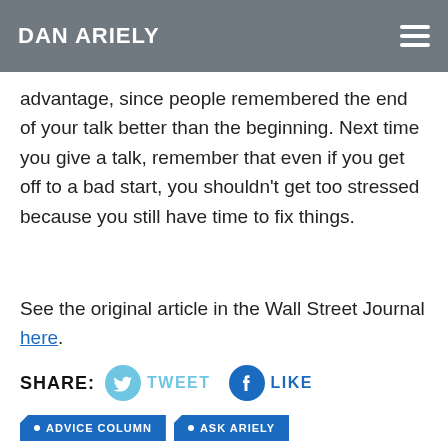DAN ARIELY
high point and the end of the experience. This could advantage, since people remembered the end of your talk better than the beginning. Next time you give a talk, remember that even if you get off to a bad start, you shouldn't get too stressed because you still have time to fix things.
See the original article in the Wall Street Journal here.
SHARE: TWEET LIKE
• ADVICE COLUMN • ASK ARIELY